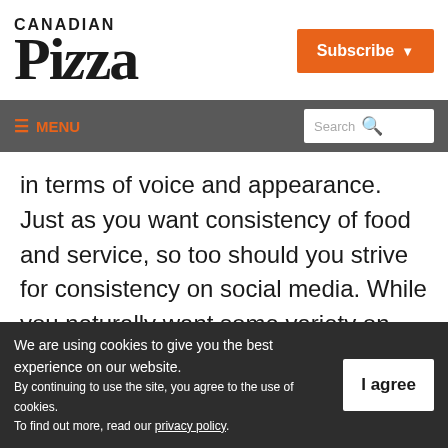[Figure (logo): Canadian Pizza magazine logo with 'CANADIAN' in small caps above large serif 'Pizza' text]
[Figure (other): Orange Subscribe button with dropdown arrow in top-right of header]
≡ MENU  [Search bar]
in terms of voice and appearance. Just as you want consistency of food and service, so too should you strive for consistency on social media. While you naturally want some variety on what you post, you can't be haphazard and expect positive results.
We are using cookies to give you the best experience on our website.
By continuing to use the site, you agree to the use of cookies.
To find out more, read our privacy policy.